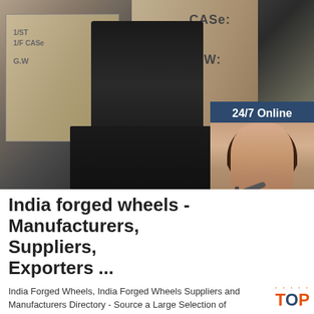[Figure (photo): Warehouse scene showing large wooden crates labeled CASe: and G.W:, with industrial machinery in the foreground. An inset customer service widget shows a woman with a headset and a '24/7 Online' header, 'Click here for free chat!' text, and an orange QUOTATION button.]
India forged wheels - Manufacturers, Suppliers, Exporters ...
India Forged Wheels, India Forged Wheels Suppliers and Manufacturers Directory - Source a Large Selection of Forged Wheels Products at forged aluminum cookware,20' 3 piece forged wheels,forged parts from India.Alibaba.com